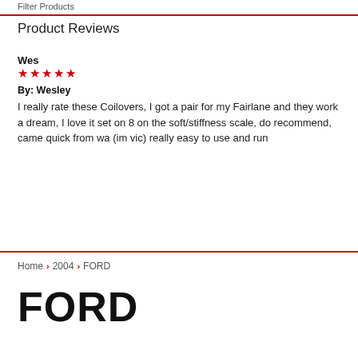Filter Products
Product Reviews
Wes
★★★★★
By: Wesley
I really rate these Coilovers, I got a pair for my Fairlane and they work a dream, I love it set on 8 on the soft/stiffness scale, do recommend, came quick from wa (im vic) really easy to use and run
Home > 2004 > FORD
FORD